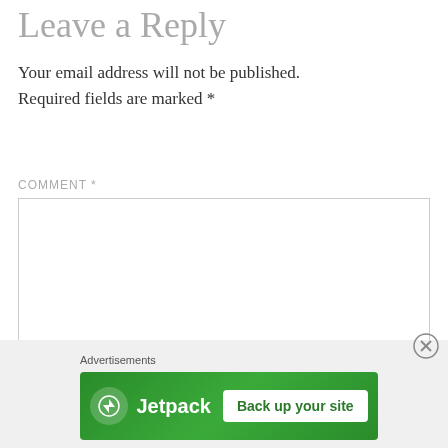Leave a Reply
Your email address will not be published. Required fields are marked *
COMMENT *
[Figure (screenshot): Empty comment text area input box with resize handle in bottom-right corner]
Advertisements
[Figure (illustration): Jetpack advertisement banner with green background showing Jetpack logo and 'Back up your site' button]